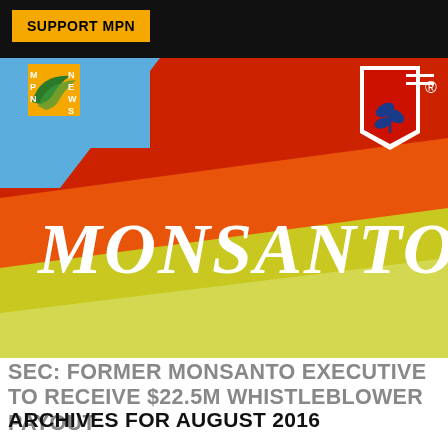SUPPORT MPN
[Figure (photo): Close-up photo of a Monsanto branded sign/banner showing the word MONSANTO in large white italic letters on a red and orange diagonal background, with the Monsanto logo (blue leaf/plant icon in a red shield shape with white border) in the upper right corner and a registered trademark symbol. The upper left background shows blue sky.]
SEC: FORMER MONSANTO EXECUTIVE TO RECEIVE $22.5M WHISTLEBLOWER PAYOUT
ARCHIVES FOR AUGUST 2016